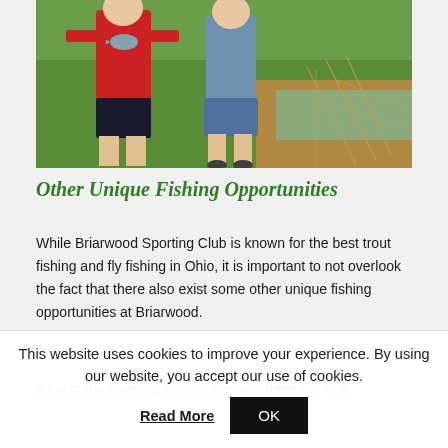[Figure (photo): Two children outdoors near water, one wearing a red shirt holding a fish, the other with a fishing net, standing on grass with a stream or pond in background.]
Other Unique Fishing Opportunities
While Briarwood Sporting Club is known for the best trout fishing and fly fishing in Ohio, it is important to not overlook the fact that there also exist some other unique fishing opportunities at Briarwood.
As with the diversity in trout species, there too is a
This website uses cookies to improve your experience. By using our website, you accept our use of cookies.
Read More
OK